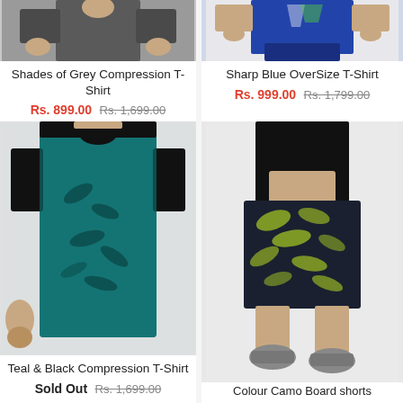[Figure (photo): Man wearing grey compression t-shirt, cropped at chest/torso]
Shades of Grey Compression T-Shirt
Rs. 899.00 Rs. 1,699.00
[Figure (photo): Man wearing sharp blue oversize t-shirt with blue shorts, cropped at torso]
Sharp Blue OverSize T-Shirt
Rs. 999.00 Rs. 1,799.00
[Figure (photo): Muscular man wearing teal and black compression t-shirt with floral/leaf pattern]
Teal & Black Compression T-Shirt
Sold Out Rs. 1,699.00
[Figure (photo): Man wearing camo green and black shorts with black t-shirt and grey sneakers]
Colour Camo Board shorts